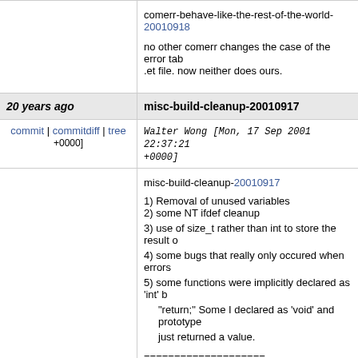comerr-behave-like-the-rest-of-the-world-20010918

no other comerr changes the case of the error tab .et file. now neither does ours.
20 years ago    misc-build-cleanup-20010917
commit | commitdiff | tree +0000]
Walter Wong [Mon, 17 Sep 2001 22:37:21 +0000]
misc-build-cleanup-20010917

1) Removal of unused variables
2) some NT ifdef cleanup
3) use of size_t rather than int to store the result o
4) some bugs that really only occured when errors
5) some functions were implicitly declared as 'int' b
   "return;" Some I declared as 'void' and prototype
   just returned a value.

====================
This delta was composed from multiple commits a
>Git migration.
The checkin message with each commit was inco
The following are the additional commit messages
====================

put symbol in an ifdef for winnt